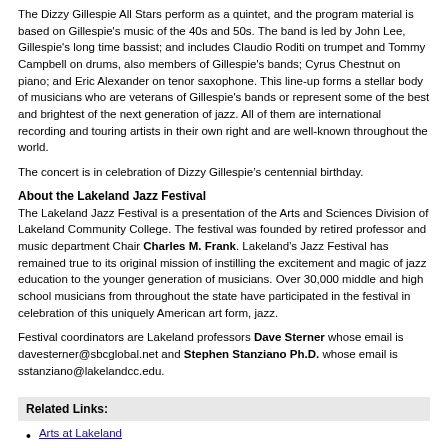The Dizzy Gillespie All Stars perform as a quintet, and the program material is based on Gillespie's music of the 40s and 50s. The band is led by John Lee, Gillespie's long time bassist; and includes Claudio Roditi on trumpet and Tommy Campbell on drums, also members of Gillespie's bands; Cyrus Chestnut on piano; and Eric Alexander on tenor saxophone. This line-up forms a stellar body of musicians who are veterans of Gillespie's bands or represent some of the best and brightest of the next generation of jazz. All of them are international recording and touring artists in their own right and are well-known throughout the world.
The concert is in celebration of Dizzy Gillespie’s centennial birthday.
About the Lakeland Jazz Festival
The Lakeland Jazz Festival is a presentation of the Arts and Sciences Division of Lakeland Community College. The festival was founded by retired professor and music department Chair Charles M. Frank. Lakeland’s Jazz Festival has remained true to its original mission of instilling the excitement and magic of jazz education to the younger generation of musicians. Over 30,000 middle and high school musicians from throughout the state have participated in the festival in celebration of this uniquely American art form, jazz.
Festival coordinators are Lakeland professors Dave Sterner whose email is davesterner@sbcglobal.net and Stephen Stanziano Ph.D. whose email is sstanziano@lakelandcc.edu.
Related Links:
Arts at Lakeland
By: Colleen Marble, Marketing Communications Spcls